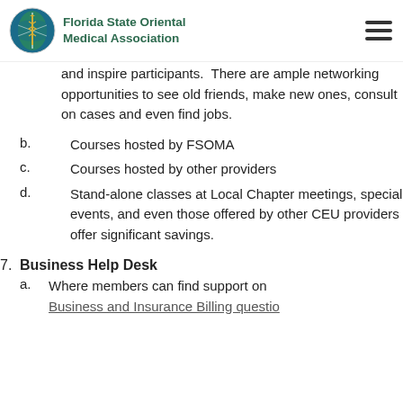Florida State Oriental Medical Association
and inspire participants.  There are ample networking opportunities to see old friends, make new ones, consult on cases and even find jobs.
b. Courses hosted by FSOMA
c. Courses hosted by other providers
d. Stand-alone classes at Local Chapter meetings, special events, and even those offered by other CEU providers offer significant savings.
7. Business Help Desk
a. Where members can find support on Business and Insurance Billing questions